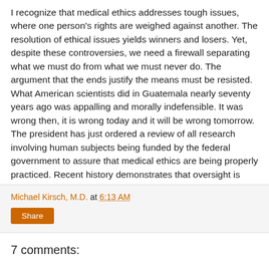I recognize that medical ethics addresses tough issues, where one person's rights are weighed against another. The resolution of ethical issues yields winners and losers. Yet, despite these controversies, we need a firewall separating what we must do from what we must never do. The argument that the ends justify the means must be resisted. What American scientists did in Guatemala nearly seventy years ago was appalling and morally indefensible. It was wrong then, it is wrong today and it will be wrong tomorrow. The president has just ordered a review of all research involving human subjects being funded by the federal government to assure that medical ethics are being properly practiced. Recent history demonstrates that oversight is necessary. Third world citizens deserve first class ethics.
Michael Kirsch, M.D. at 6:13 AM
Share
7 comments: